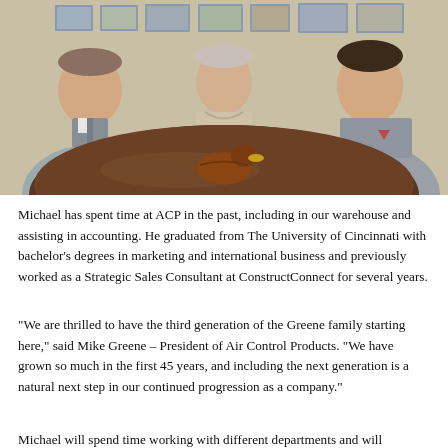[Figure (photo): Three men sitting around a large round wooden table. On the left is a middle-aged man in a gray quarter-zip pullover. In the center is an elderly man in a light beige sweater. On the right is a young man in a gray hoodie. A wooden duck decoy sits on the table in the center. Various photos hang on the wall in the background.]
Michael has spent time at ACP in the past, including in our warehouse and assisting in accounting. He graduated from The University of Cincinnati with bachelor's degrees in marketing and international business and previously worked as a Strategic Sales Consultant at ConstructConnect for several years.
“We are thrilled to have the third generation of the Greene family starting here,” said Mike Greene – President of Air Control Products. “We have grown so much in the first 45 years, and including the next generation is a natural next step in our continued progression as a company.”
Michael will spend time working with different departments and will